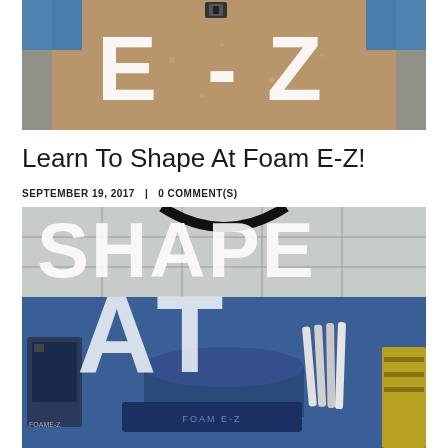[Figure (photo): Overhead view of a foam shaping workshop floor with large white letters 'E-Z' painted on a brown/tan surface, with blue walls visible and a small camera or device mounted above.]
Learn To Shape At Foam E-Z!
SEPTEMBER 19, 2017 | 0 COMMENT(S)
[Figure (photo): Interior of Foam E-Z surfboard shaping shop with large bold white letters 'SHAPE AT' displayed prominently. The space shows a blue-walled workshop interior with surfboards and equipment visible in the background.]